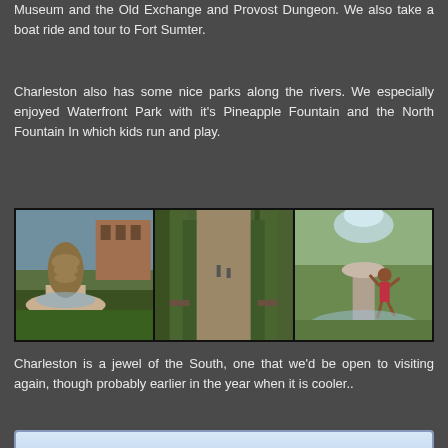Museum and the Old Exchange and Provost Dungeon. We also take a boat ride and tour to Fort Sumter.
Charleston also has some nice parks along the rivers. We especially enjoyed Waterfront Park with it's Pineapple Fountain and the North Fountain In which kids run and play.
[Figure (photo): Three side-by-side photos of Waterfront Park in Charleston: left shows the Pineapple Fountain, center shows a tree-lined path with benches, right shows a child playing in the North Fountain.]
Charleston is a jewel of the South, one that we'd be open to visiting again, though probably earlier in the year when it is cooler..
For More Photo's - Click Here to go to Our Photo Site
Tweet